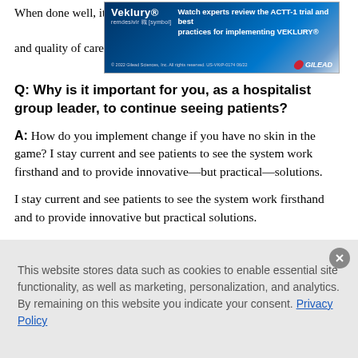When done well, it is phenomenal. When done without... rous for patients and quality of care.
[Figure (advertisement): Veklury (remdesivir) Gilead advertisement banner: 'Watch experts review the ACTT-1 trial and best practices for implementing VEKLURY®'. © 2022 Gilead Sciences, Inc. All rights reserved. US-VKP-0174 06/22]
Q: Why is it important for you, as a hospitalist group leader, to continue seeing patients?
A: How do you implement change if you have no skin in the game? I stay current and see patients to see the system work firsthand and to provide innovative—but practical—solutions.
I stay current and see patients to see the system work firsthand and to provide innovative but practical solutions.
This website stores data such as cookies to enable essential site functionality, as well as marketing, personalization, and analytics. By remaining on this website you indicate your consent. Privacy Policy